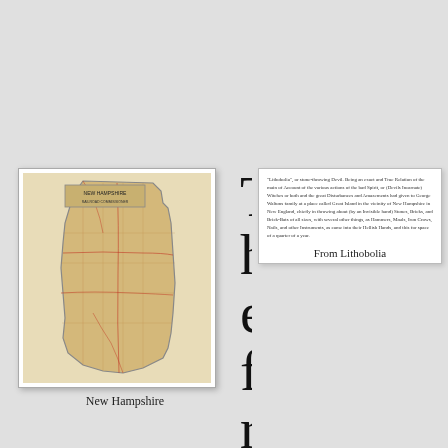[Figure (map): Map of New Hampshire state with roads and county lines, vintage style]
New Hampshire
[Figure (other): Quoted text block from Lithobolia]
From Lithobolia
The first settlers ghost story is said to have taken place in a tiny town in New Hampshire. In the spring of 1682, the home and tavern of George and Alice Walton suddenly became plagued by falling rocks, inside and out. The rocks fell for three months. No matter where the family went to try and escape, the phenomena followed them and the rocks would continue to pound whatever building they were in. But suddenly, as abruptly as the event began, it stopped. No explanation was ever found for why it had occurred although the